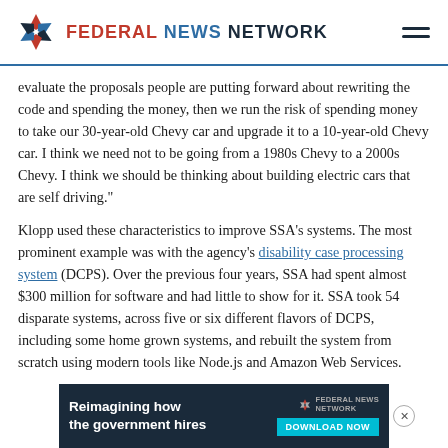FEDERAL NEWS NETWORK
evaluate the proposals people are putting forward about rewriting the code and spending the money, then we run the risk of spending money to take our 30-year-old Chevy car and upgrade it to a 10-year-old Chevy car. I think we need not to be going from a 1980s Chevy to a 2000s Chevy. I think we should be thinking about building electric cars that are self driving."
Klopp used these characteristics to improve SSA’s systems. The most prominent example was with the agency’s disability case processing system (DCPS). Over the previous four years, SSA had spent almost $300 million for software and had little to show for it. SSA took 54 disparate systems, across five or six different flavors of DCPS, including some home grown systems, and rebuilt the system from scratch using modern tools like Node.js and Amazon Web Services.
[Figure (infographic): Advertisement banner for Federal News Network: 'Reimagining how the government hires' with a DOWNLOAD NOW button]